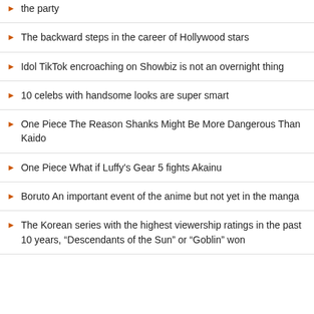the party
The backward steps in the career of Hollywood stars
Idol TikTok encroaching on Showbiz is not an overnight thing
10 celebs with handsome looks are super smart
One Piece The Reason Shanks Might Be More Dangerous Than Kaido
One Piece What if Luffy's Gear 5 fights Akainu
Boruto An important event of the anime but not yet in the manga
The Korean series with the highest viewership ratings in the past 10 years, “Descendants of the Sun” or “Goblin” won